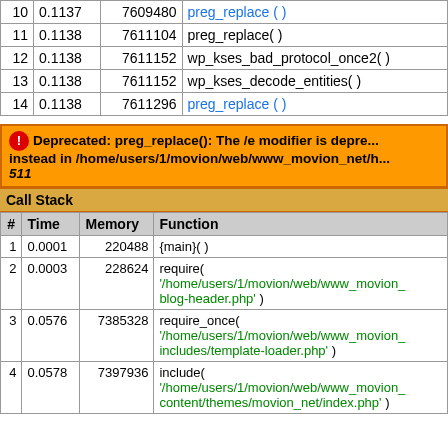| # | Time | Memory | Function |
| --- | --- | --- | --- |
| 10 | 0.1137 | 7609480 | preg_replace ( ) |
| 11 | 0.1138 | 7611104 | preg_replace( ) |
| 12 | 0.1138 | 7611152 | wp_kses_bad_protocol_once2( ) |
| 13 | 0.1138 | 7611152 | wp_kses_decode_entities( ) |
| 14 | 0.1138 | 7611296 | preg_replace ( ) |
( ! ) Deprecated: preg_replace(): The /e modifier is deprecated, use preg_replace_callback() instead in /home/users/1/movion/web/www_movion_net/h... on line 511
| # | Time | Memory | Function |
| --- | --- | --- | --- |
| 1 | 0.0001 | 220488 | {main}( ) |
| 2 | 0.0003 | 228624 | require( '/home/users/1/movion/web/www_movion_ blog-header.php' ) |
| 3 | 0.0576 | 7385328 | require_once( '/home/users/1/movion/web/www_movion_ includes/template-loader.php' ) |
| 4 | 0.0578 | 7397936 | include( '/home/users/1/movion/web/www_movion_ content/themes/movion_net/index.php' ) |